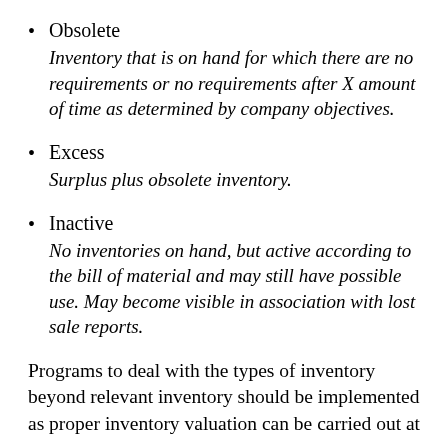Obsolete — Inventory that is on hand for which there are no requirements or no requirements after X amount of time as determined by company objectives.
Excess — Surplus plus obsolete inventory.
Inactive — No inventories on hand, but active according to the bill of material and may still have possible use. May become visible in association with lost sale reports.
Programs to deal with the types of inventory beyond relevant inventory should be implemented as proper inventory valuation can be carried out at